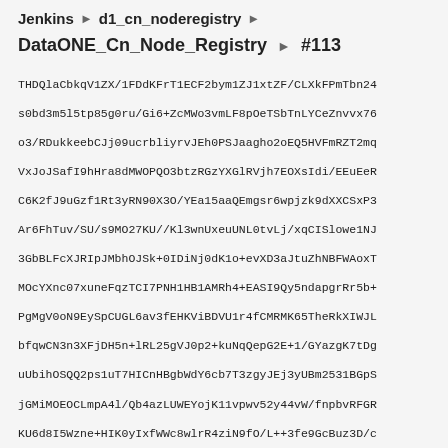Jenkins › d1_cn_noderegistry ›
DataONE_Cn_Node_Registry › #113
THDQlaCbkqV1ZX/1FDdKFrT1ECF2bym1ZJ1xtZF/CLXkFPmTbn24
s0bd3m5l5tp85g0ru/Gi6+ZcMWo3vmLF8pOeTSbTnLYCeZnvvx76
o3/RDukkeebCJj09ucrbliyrvJEh0PSJaagho2oEQ5HVFmRZT2mq
VxJoJSafI9hHra8dMWOPQO3btzRGzYXGlRVjh7EOXsIdi/EEuEeR
C6K2fJ9uGzf1Rt3yRN90X3O/YEa15aaQEmgsr6wpjzk9dXXCSxP3
Ar6FhTuv/SU/s9MO27KU//Kl3wnUxeuUNL0tvLj/xqCISlowe1NJ
3GbBLFcXJRIpJMbhOJSk+0IDiNj0dK1o+evXD3aJtuZhNBFWAoxT
MOcYXnc07xuneFqzTCI7PNH1HB1AMRh4+EASI9Qy5ndapgrRr5b+
PgMgV0oN9EySpCUGL6av3fEHKViBDVU1r4fCMRMK65TheRkXIWJL
bfqwCN3n3XFjDH5n+lRL25gVJ0p2+kuNqQepG2E+1/GYazgK7tDg
uUbihOSQQ2ps1uT7HICnHBgbWdY6cb7T3zgyJEj3yUBm2531BGpS
jGMiMOEOCLmpA4l/Qb4azLUWEYojK11vpwv52y44vW/fnpbvRFGR
KU6d8I5Wzne+HIK0yIxfWWc8wlrR4ziN9fO/L++3fe9GcBuz3D/c
ZF5We4xzz3+8UP7dlWnUbsNMuNG/toA/r54yQVjBx37WSETkTQQo
pLXgR7twHxK6xap8wxInXFlpNGQiLQwaAK9BAMB9bDQZwIhsd0tp
SHfuWbjyVLBxkjfI6BrHri6NV96BmlQrhgoYoywb3pWtXRZ1e3L9
nbv//2r607MUhqQ04606DHL/yMMKaoIM+Fm/oFdCtafN/3onzbWr
kb/tElQld/9sM8+qebtW+a9WRfzgYdxQqVY8PHGs+ceM/GFM3uF5
7u8Gc3sNK3eRIfuawsvJId2gx8uwSTU3eKMBiI1XlDj8PSHJIbLa